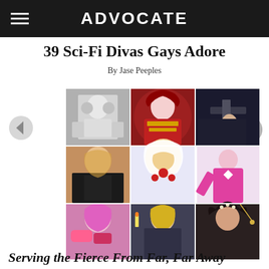ADVOCATE
39 Sci-Fi Divas Gays Adore
By Jase Peeples
[Figure (photo): 3x3 collage of sci-fi female characters including Princess Leia, Queen Amidala, Trinity from The Matrix, a glamorous woman, Mystique (blue), Storm from X-Men animated, Pink Power Ranger, a pink-haired woman in costume, a blonde woman with candles, and a woman in ornate headpiece]
Serving the Fierce From Far, Far Away